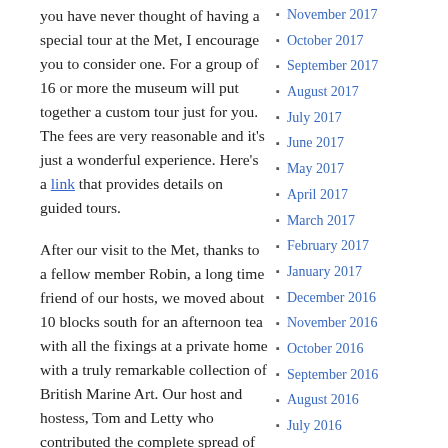you have never thought of having a special tour at the Met, I encourage you to consider one. For a group of 16 or more the museum will put together a custom tour just for you. The fees are very reasonable and it's just a wonderful experience. Here's a link that provides details on guided tours.
After our visit to the Met, thanks to a fellow member Robin, a long time friend of our hosts, we moved about 10 blocks south for an afternoon tea with all the fixings at a private home with a truly remarkable collection of British Marine Art. Our host and hostess, Tom and Letty who contributed the complete spread of food, beautifully presented, graciously shared their knowledge and home. Their collection was wonderfully described in American Heritage Magazine and I encourage
November 2017
October 2017
September 2017
August 2017
July 2017
June 2017
May 2017
April 2017
March 2017
February 2017
January 2017
December 2016
November 2016
October 2016
September 2016
August 2016
July 2016